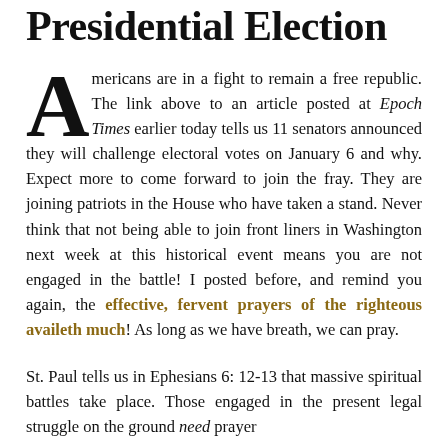Presidential Election
Americans are in a fight to remain a free republic. The link above to an article posted at Epoch Times earlier today tells us 11 senators announced they will challenge electoral votes on January 6 and why. Expect more to come forward to join the fray. They are joining patriots in the House who have taken a stand. Never think that not being able to join front liners in Washington next week at this historical event means you are not engaged in the battle! I posted before, and remind you again, the effective, fervent prayers of the righteous availeth much! As long as we have breath, we can pray.
St. Paul tells us in Ephesians 6: 12-13 that massive spiritual battles take place. Those engaged in the present legal struggle on the ground need prayer